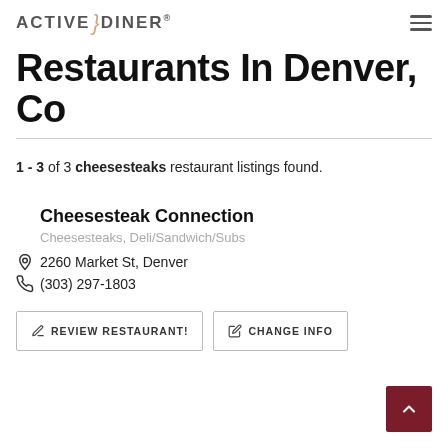ACTIVE DINER®
Restaurants In Denver, Co
1 - 3 of 3 cheesesteaks restaurant listings found.
Cheesesteak Connection
Cheesesteaks, Deli/Sandwich/Subs
2260 Market St, Denver
(303) 297-1803
REVIEW RESTAURANT!
CHANGE INFO